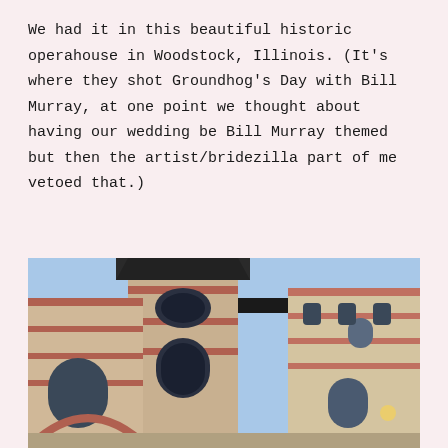We had it in this beautiful historic operahouse in Woodstock, Illinois. (It's where they shot Groundhog's Day with Bill Murray, at one point we thought about having our wedding be Bill Murray themed but then the artist/bridezilla part of me vetoed that.)
[Figure (photo): Upward-angle photograph of a historic red and beige brick opera house building with a tower, arched windows, and decorative stonework against a blue sky.]